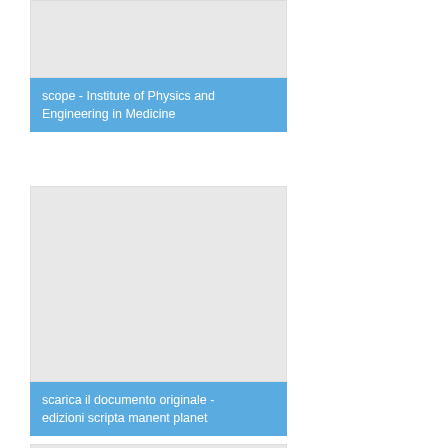[Figure (photo): Grey placeholder image area at top of card]
scope - Institute of Physics and Engineering in Medicine
[Figure (photo): Large grey placeholder image area in middle card]
scarica il documento originale - edizioni scripta manent planet
[Figure (photo): Grey placeholder image area at bottom of page]